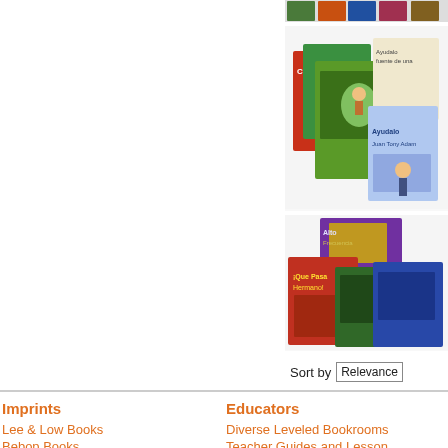[Figure (photo): Group of colorful children's book covers - first cluster near top right]
[Figure (photo): Group of colorful children's book covers - second cluster with Spanish language books]
[Figure (photo): Group of colorful children's book covers - third cluster with various multicultural books]
[Figure (photo): Group of colorful children's book covers - fourth cluster including 'olé flamenco' and others]
Sort by Relevance
Imprints
Educators
Lee & Low Books
Bebop Books
Diverse Leveled Bookrooms
Teacher Guides and Lesson...